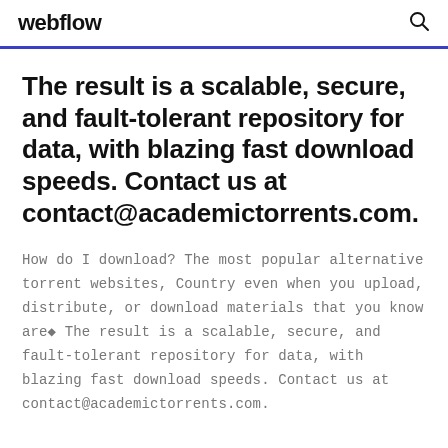webflow
The result is a scalable, secure, and fault-tolerant repository for data, with blazing fast download speeds. Contact us at contact@academictorrents.com.
How do I download? The most popular alternative torrent websites, Country even when you upload, distribute, or download materials that you know are◆ The result is a scalable, secure, and fault-tolerant repository for data, with blazing fast download speeds. Contact us at contact@academictorrents.com.